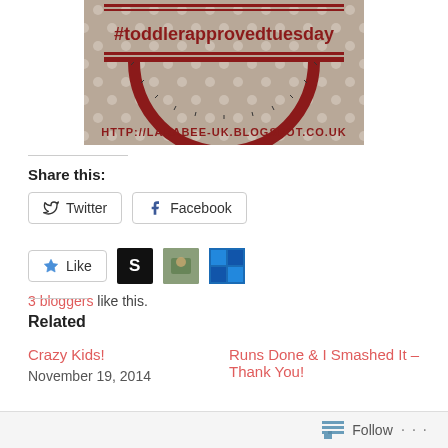[Figure (illustration): Toddler Approved Tuesday blog badge with polka dot background, red semicircle design, hashtag #toddlerapprovedtuesday text, and URL HTTP://LARABEE-UK.BLOGSPOT.CO.UK]
Share this:
Twitter   Facebook
Like   [3 blogger avatars]
3 bloggers like this.
Related
Crazy Kids!
November 19, 2014
Runs Done & I Smashed It – Thank You!
Follow